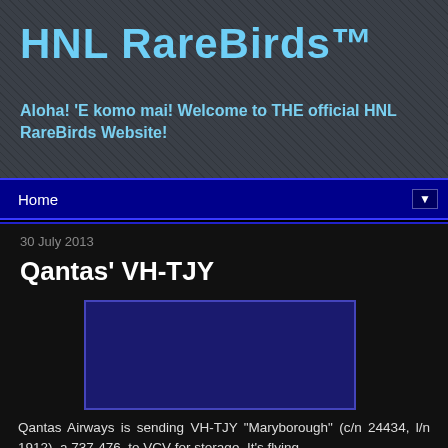HNL RareBirds™
Aloha! 'E komo mai! Welcome to THE official HNL RareBirds Website!
Home ▼
30 July 2013
Qantas' VH-TJY
[Figure (photo): Blue placeholder rectangle representing an embedded photo of Qantas aircraft VH-TJY]
Qantas Airways is sending VH-TJY "Maryborough" (c/n 24434, l/n 1912), a 737-476, to VCV for storage. It's flying